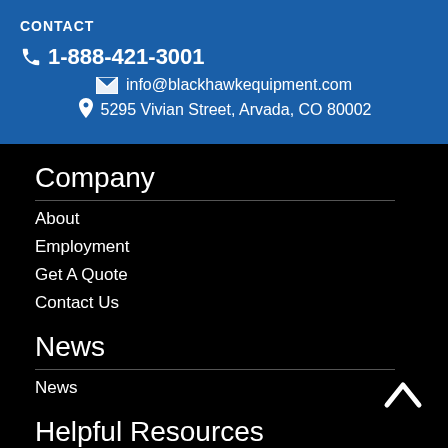CONTACT
1-888-421-3001
info@blackhawkequipment.com
5295 Vivian Street, Arvada, CO 80002
Company
About
Employment
Get A Quote
Contact Us
News
News
Helpful Resources
Resources